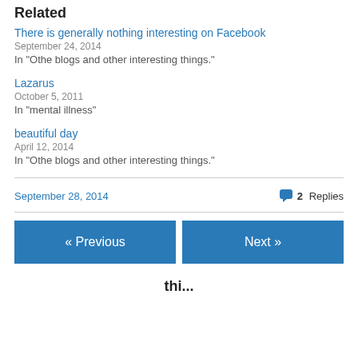Related
There is generally nothing interesting on Facebook
September 24, 2014
In "Othe blogs and other interesting things."
Lazarus
October 5, 2011
In "mental illness"
beautiful day
April 12, 2014
In "Othe blogs and other interesting things."
September 28, 2014   2 Replies
« Previous   Next »